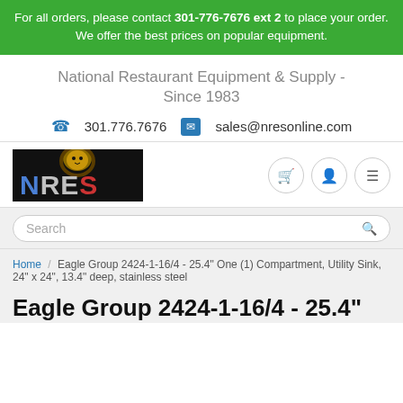For all orders, please contact 301-776-7676 ext 2 to place your order. We offer the best prices on popular equipment.
National Restaurant Equipment & Supply - Since 1983
301.776.7676   sales@nresonline.com
[Figure (logo): NRES logo with lion and stylized NRES text on black background]
Search
Home / Eagle Group 2424-1-16/4 - 25.4" One (1) Compartment, Utility Sink, 24" x 24", 13.4" deep, stainless steel
Eagle Group 2424-1-16/4 - 25.4"